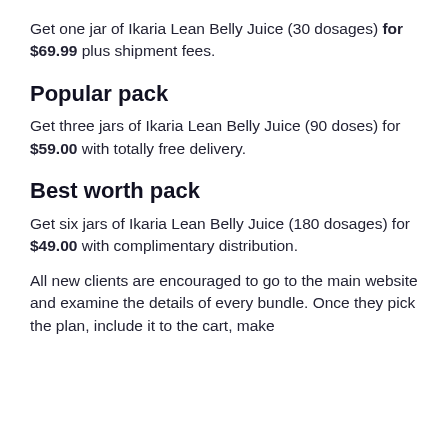Get one jar of Ikaria Lean Belly Juice (30 dosages) for $69.99 plus shipment fees.
Popular pack
Get three jars of Ikaria Lean Belly Juice (90 doses) for $59.00 with totally free delivery.
Best worth pack
Get six jars of Ikaria Lean Belly Juice (180 dosages) for $49.00 with complimentary distribution.
All new clients are encouraged to go to the main website and examine the details of every bundle. Once they pick the plan, include it to the cart, make